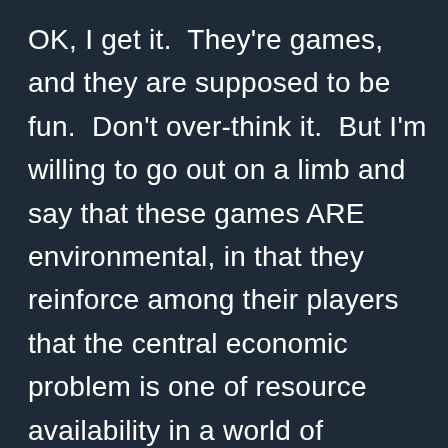OK, I get it.  They're games, and they are supposed to be fun.  Don't over-think it.  But I'm willing to go out on a limb and say that these games ARE environmental, in that they reinforce among their players that the central economic problem is one of resource availability in a world of dwindling supplies.  But strangely enough the gaming solution typically reflects strategies that are quite real when measured against history:  find resources, deplete them, find more, and develop technology to